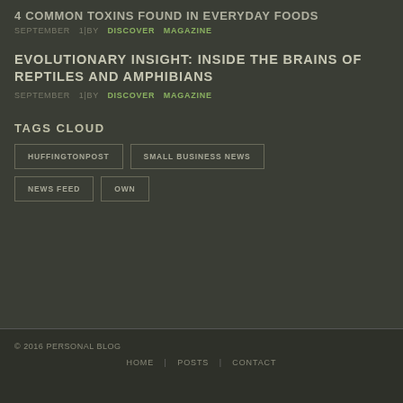4 COMMON TOXINS FOUND IN EVERYDAY FOODS
SEPTEMBER   1|BY   DISCOVER   MAGAZINE
EVOLUTIONARY INSIGHT: INSIDE THE BRAINS OF REPTILES AND AMPHIBIANS
SEPTEMBER   1|BY   DISCOVER   MAGAZINE
TAGS CLOUD
HUFFINGTONPOST
SMALL BUSINESS NEWS
NEWS FEED
OWN
© 2016 PERSONAL BLOG
HOME | POSTS | CONTACT